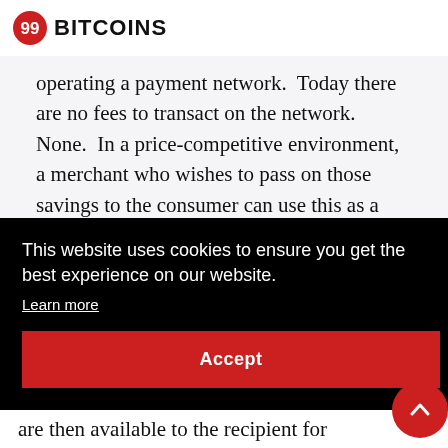99BITCOINS
operating a payment network.  Today there are no fees to transact on the network.  None.  In a price-competitive environment, a merchant who wishes to pass on those savings to the consumer can use this as a competitive advantage.
This website uses cookies to ensure you get the best experience on our website. Learn more
Accept
are then available to the recipient for